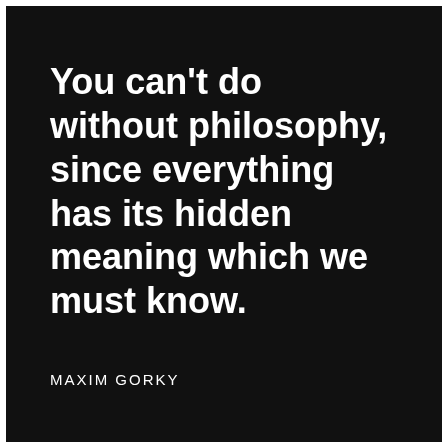You can't do without philosophy, since everything has its hidden meaning which we must know.
MAXIM GORKY